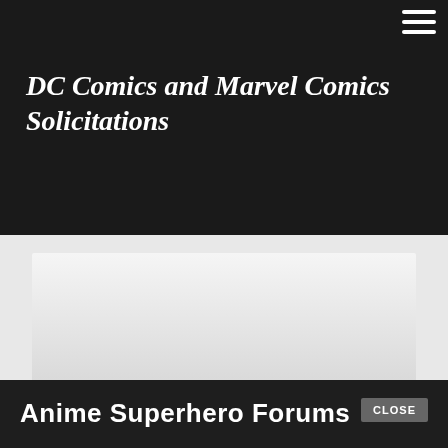DC Comics and Marvel Comics Solicitations
[Figure (other): Advertisement or image placeholder with grey gradient background]
Anime Superhero Forums
CLOSE